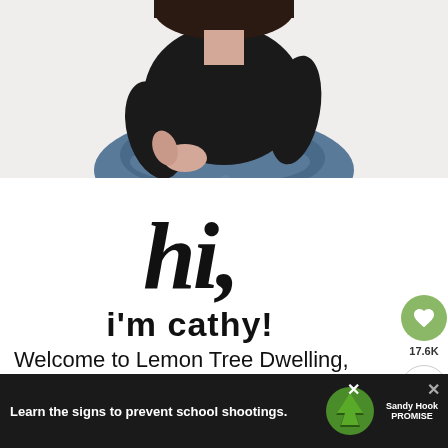[Figure (photo): Person sitting cross-legged, wearing black top and blue jeans, white background, photo cropped to show torso and lap]
[Figure (illustration): Handwritten script cursive text reading 'hi,' followed by sans-serif bold text reading 'i'm cathy!']
Welcome to Lemon Tree Dwelling, where you'll find easy, foolproof recipes that are
[Figure (infographic): Sandy Hook Promise advertisement banner: 'Learn the signs to prevent school shootings.' with tree logo and Sandy Hook Promise branding]